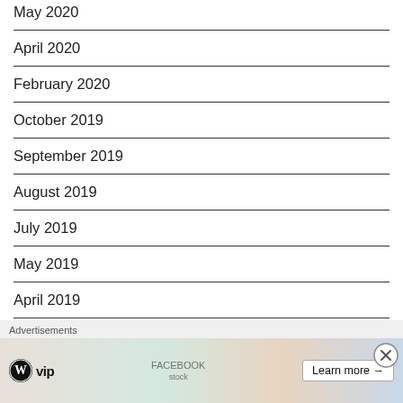May 2020
April 2020
February 2020
October 2019
September 2019
August 2019
July 2019
May 2019
April 2019
January 2019 (partial)
Advertisements
[Figure (other): WordPress VIP advertisement banner with Learn more button]